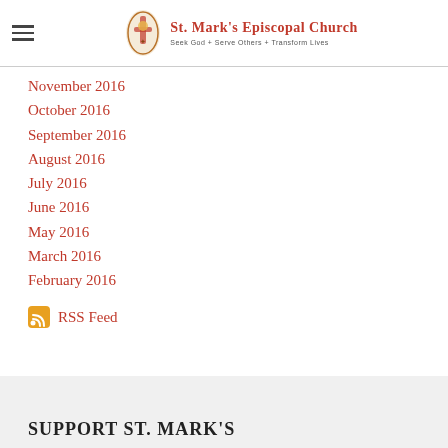St. Mark's Episcopal Church — Seek God + Serve Others + Transform Lives
November 2016
October 2016
September 2016
August 2016
July 2016
June 2016
May 2016
March 2016
February 2016
RSS Feed
SUPPORT ST. MARK'S